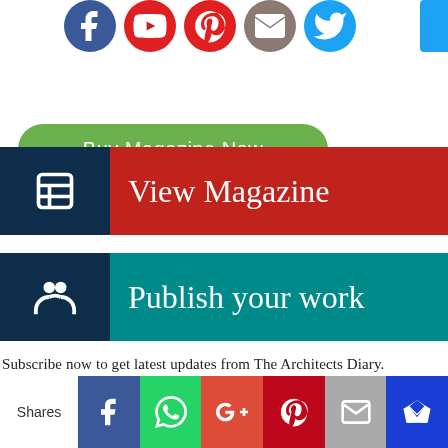[Figure (infographic): Row of social media icon circles (Facebook blue, YouTube red, Pinterest red, Mail brown, Twitter blue) at top, with partial blue bar on right]
[Figure (infographic): Green rounded rectangle button labeled 'Buy Magazine Now']
[Figure (infographic): View Magazine banner: dark navy icon block with book icon, red block with white serif text 'View Magazine']
[Figure (infographic): Publish your work banner: dark navy icon block with group icon, teal block with white serif text 'Publish your work']
Subscribe now to get latest updates from The Architects Diary.
Name
[Figure (infographic): Bottom share bar: Shares label, then Facebook, WhatsApp, Google+, Pinterest, Mail, Crown icon buttons]
[Figure (infographic): Name input text field (empty)]